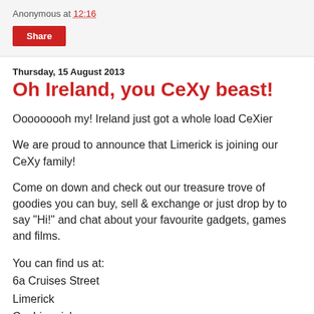Anonymous at 12:16
Share
Thursday, 15 August 2013
Oh Ireland, you CeXy beast!
Ooooooooh my! Ireland just got a whole load CeXier
We are proud to announce that Limerick is joining our CeXy family!
Come on down and check out our treasure trove of goodies you can buy, sell & exchange or just drop by to say "Hi!" and chat about your favourite gadgets, games and films.
You can find us at:
6a Cruises Street
Limerick
Co. Limerick